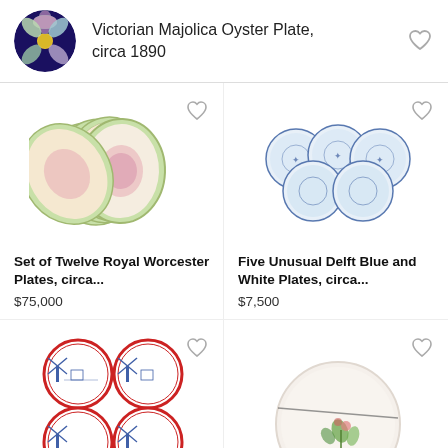Victorian Majolica Oyster Plate, circa 1890
[Figure (photo): Victorian Majolica Oyster Plate thumbnail - circular plate with petal-shaped oyster wells in blue, green, pink on dark background]
[Figure (photo): Set of twelve Royal Worcester plates fanned/stacked showing green borders and painted scenes]
Set of Twelve Royal Worcester Plates, circa...
$75,000
[Figure (photo): Five unusual Delft blue and white plates arranged in a group]
Five Unusual Delft Blue and White Plates, circa...
$7,500
[Figure (photo): Four Delft blue and white decorative coasters/plates with red borders showing windmill scenes, arranged in 2x2 grid]
[Figure (photo): Single ceramic plate with green floral decoration on white background, partially shown]